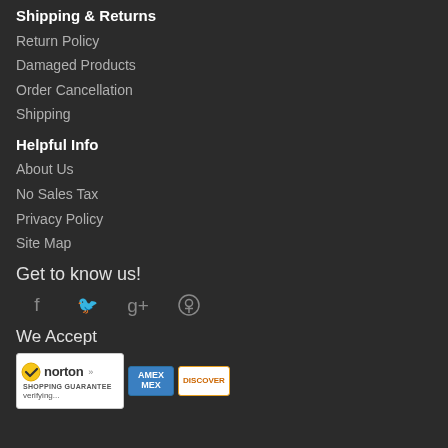Shipping & Returns
Return Policy
Damaged Products
Order Cancellation
Shipping
Helpful Info
About Us
No Sales Tax
Privacy Policy
Site Map
Get to know us!
[Figure (infographic): Social media icons: Facebook, Twitter, Google+, Pinterest]
We Accept
[Figure (infographic): Norton Shopping Guarantee badge, American Express badge, Discover badge]